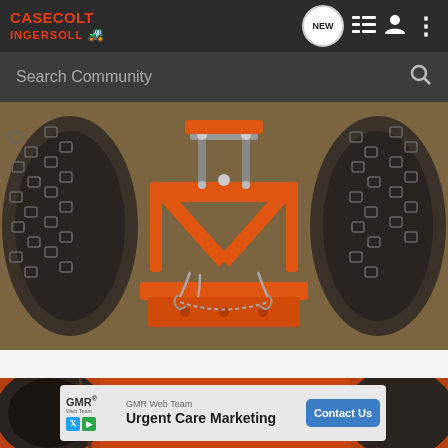Case Colt Ingersoll
Search Community
[Figure (photo): Close-up photo of an orange tractor/garden tractor rear hitch assembly with chains and linkage hardware, flanked by two large tires with tire chains on a concrete floor]
[Figure (photo): Partial view of orange tractor with advertisement overlay for GMR Web Team Urgent Care Marketing with Contact Us button]
GMR Web Team
Urgent Care Marketing
Contact Us